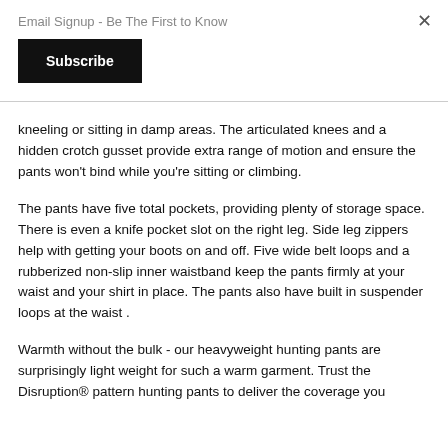Email Signup - Be The First to Know
Subscribe
kneeling or sitting in damp areas. The articulated knees and a hidden crotch gusset provide extra range of motion and ensure the pants won't bind while you're sitting or climbing.
The pants have five total pockets, providing plenty of storage space. There is even a knife pocket slot on the right leg. Side leg zippers help with getting your boots on and off. Five wide belt loops and a rubberized non-slip inner waistband keep the pants firmly at your waist and your shirt in place. The pants also have built in suspender loops at the waist .
Warmth without the bulk - our heavyweight hunting pants are surprisingly light weight for such a warm garment. Trust the Disruption® pattern hunting pants to deliver the coverage you